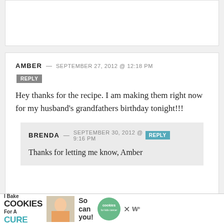(partial comment box at top)
AMBER — SEPTEMBER 27, 2012 @ 12:18 PM
Hey thanks for the recipe. I am making them right now for my husband's grandfathers birthday tonight!!!
BRENDA — SEPTEMBER 30, 2012 @ 9:16 PM
Thanks for letting me know, Amber
[Figure (infographic): Advertisement banner: I Bake COOKIES For A CURE — So can you! with photo of child and cookies for kids cancer logo]